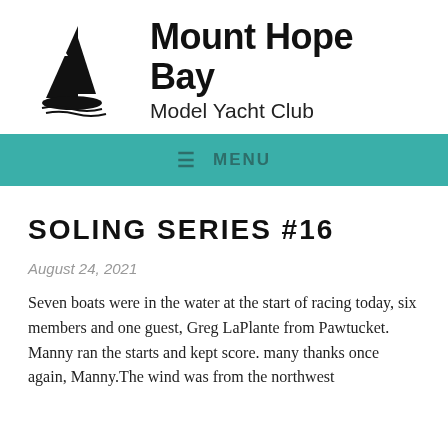[Figure (logo): Sailboat silhouette logo for Mount Hope Bay Model Yacht Club]
Mount Hope Bay Model Yacht Club
≡ MENU
SOLING SERIES #16
August 24, 2021
Seven boats were in the water at the start of racing today, six members and one guest, Greg LaPlante from Pawtucket. Manny ran the starts and kept score. many thanks once again, Manny.The wind was from the northwest